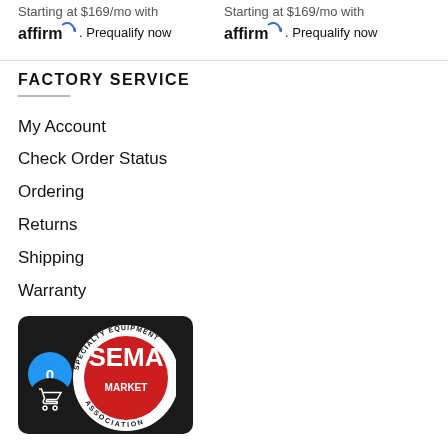Starting at $169/mo with affirm. Prequalify now
Starting at $169/mo with affirm. Prequalify now
FACTORY SERVICE
My Account
Check Order Status
Ordering
Returns
Shipping
Warranty
[Figure (logo): SEMA Specialty Equipment Market Association badge/logo on dark background with shopping cart overlay showing 0 items]